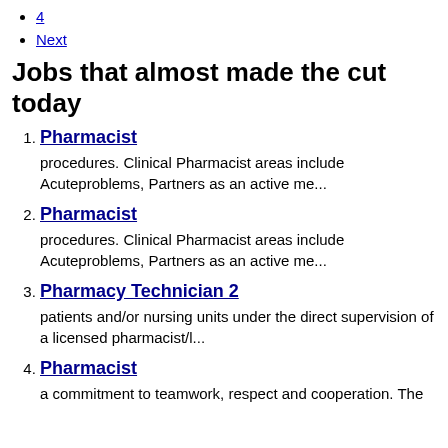4
Next
Jobs that almost made the cut today
1. Pharmacist
procedures. Clinical Pharmacist areas include Acuteproblems, Partners as an active me...
2. Pharmacist
procedures. Clinical Pharmacist areas include Acuteproblems, Partners as an active me...
3. Pharmacy Technician 2
patients and/or nursing units under the direct supervision of a licensed pharmacist/l...
4. Pharmacist
a commitment to teamwork, respect and cooperation. The